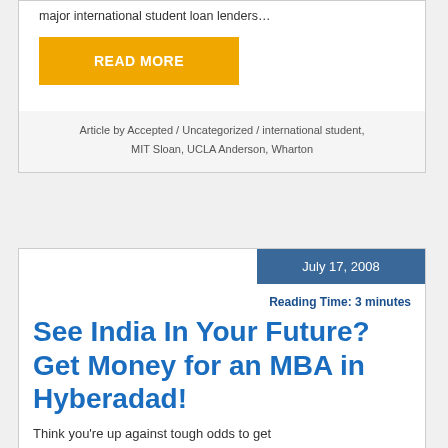major international student loan lenders…
READ MORE
Article by Accepted / Uncategorized / international student, MIT Sloan, UCLA Anderson, Wharton
July 17, 2008
Reading Time: 3 minutes
See India In Your Future? Get Money for an MBA in Hyberadad!
Think you're up against tough odds to get into top MBA programs? India…